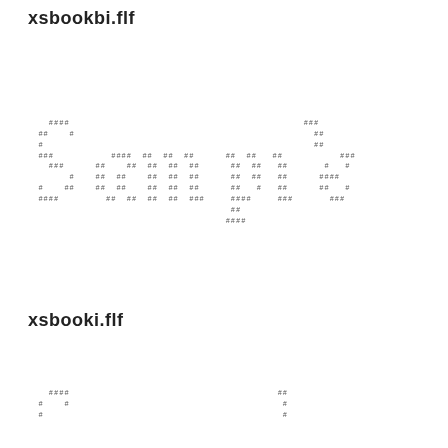xsbookbi.flf
[Figure (other): ASCII art figure made of # characters representing a font sample for xsbookbi.flf]
xsbooki.flf
[Figure (other): ASCII art figure made of # characters representing a font sample for xsbooki.flf]